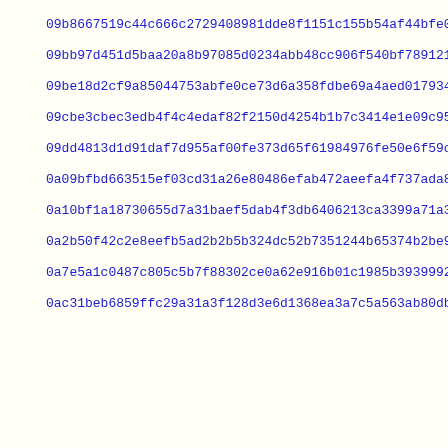09b8667519c44c666c2729408981dde8f1151c155b54af44bfe0e1ded920c
09bb97d451d5baa20a8b97085d0234abb48cc906f540bf789121e06a37a1f
09be18d2cf9a85044753abfe0ce73d6a358fdbe69a4aed017934b5a7a06ce
09cbe3cbec3edb4f4c4edaf82f2150d4254b1b7c3414e1e09c95cd5d40fff
09dd4813d1d91daf7d955af00fe373d65f61984976fe50e6f59c227417237
0a09bfbd663515ef03cd31a26e80486efab472aeefa4f737ada887b01ff5c
0a10bf1a18730655d7a31baef5dab4f3db6406213ca3399a71a3dc23e65c6
0a2b50f42c2e8eefb5ad2b2b5b324dc52b7351244b65374b2be9c083131a3
0a7e5a1c0487c805c5b7f88302ce0a62e916b01c1985b39399926d799ee9d
0ac31beb6859ffc29a31a3f128d3e6d1368ea3a7c5a563ab80dbd32fd82be